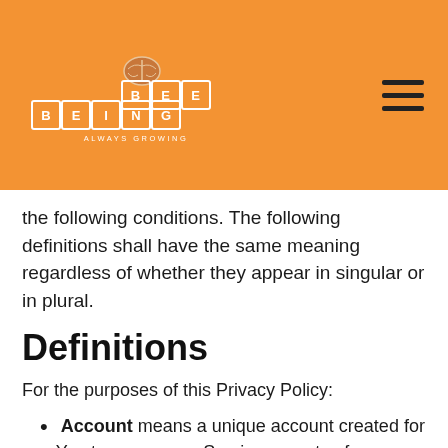[Figure (logo): Being Bee logo — block letters spelling BEING BEE with 'Always Growing' tagline, orange background with hamburger menu icon]
the following conditions. The following definitions shall have the same meaning regardless of whether they appear in singular or in plural.
Definitions
For the purposes of this Privacy Policy:
Account means a unique account created for You to access our Service or parts of our Service.